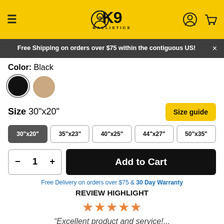K9 BALLISTICS
Free Shipping on orders over $75 within the contiguous US!
Color: Black
Size 30"x20"
30"x20"
35"x23"
40"x25"
44"x27"
50"x35"
- 1 +
Add to Cart
Free Delivery on orders over $75 & 30 Day Warranty
REVIEW HIGHLIGHT
★★★★★
"Excellent product and service!..."